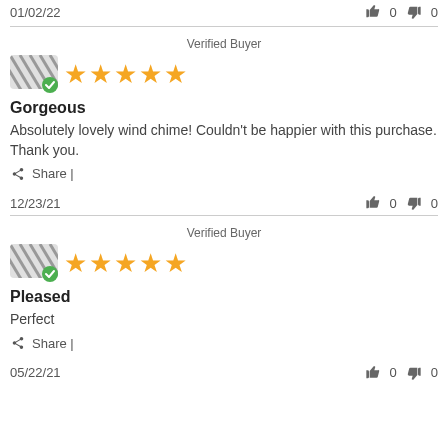01/02/22
👍 0  👎 0
Verified Buyer
[Figure (illustration): Anonymous user avatar with diagonal lines and green verified checkmark badge]
★★★★★ (5 stars)
Gorgeous
Absolutely lovely wind chime! Couldn't be happier with this purchase. Thank you.
Share |
12/23/21
👍 0  👎 0
Verified Buyer
[Figure (illustration): Anonymous user avatar with diagonal lines and green verified checkmark badge]
★★★★★ (5 stars)
Pleased
Perfect
Share |
05/22/21
👍 0  👎 0